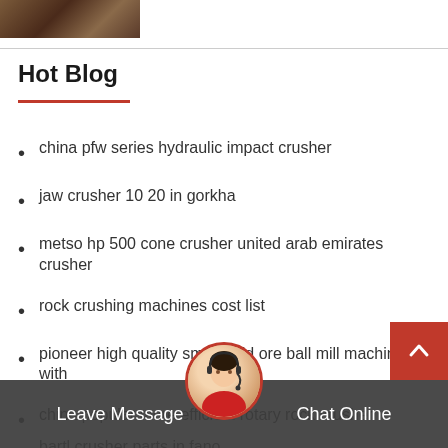[Figure (photo): Partial photo of what appears to be furniture or equipment, cropped at top of page]
Hot Blog
china pfw series hydraulic impact crusher
jaw crusher 10 20 in gorkha
metso hp 500 cone crusher united arab emirates crusher
rock crushing machines cost list
pioneer high quality small gold ore ball mill machine with
china popular more efficient rotary rock crusher
bartl crusher parts in fano